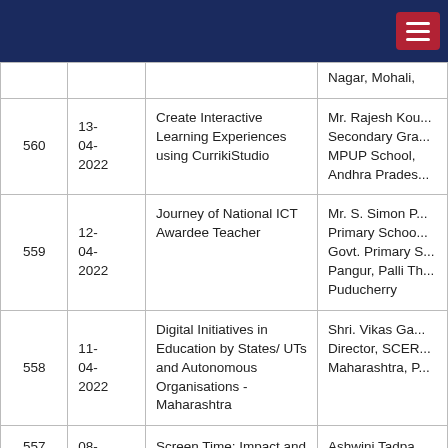| No. | Date | Title | Person/Org |
| --- | --- | --- | --- |
|  |  |  | Nagar, Mohali, |
| 560 | 13-04-2022 | Create Interactive Learning Experiences using CurrikiStudio | Mr. Rajesh Kou... Secondary Gra... MPUP School, Andhra Prades... |
| 559 | 12-04-2022 | Journey of National ICT Awardee Teacher | Mr. S. Simon P... Primary Schoo... Govt. Primary S... Pangur, Palli Th... Puducherry |
| 558 | 11-04-2022 | Digital Initiatives in Education by States/ UTs and Autonomous Organisations - Maharashtra | Shri. Vikas Ga... Director, SCER... Maharashtra, P... |
| 557 | 08-04-... | Screen Time: Impact and Management | Ashwini Tadpa... Scholar, Nation... |